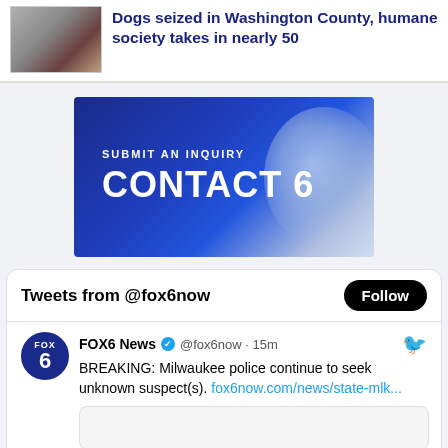Dogs seized in Washington County, humane society takes in nearly 50
[Figure (photo): Thumbnail photo of dogs]
[Figure (infographic): Submit an Inquiry - CONTACT 6 banner advertisement with blue gradient background]
Tweets from @fox6now
FOX6 News @fox6now · 15m BREAKING: Milwaukee police continue to seek unknown suspect(s). fox6now.com/news/state-mlk...